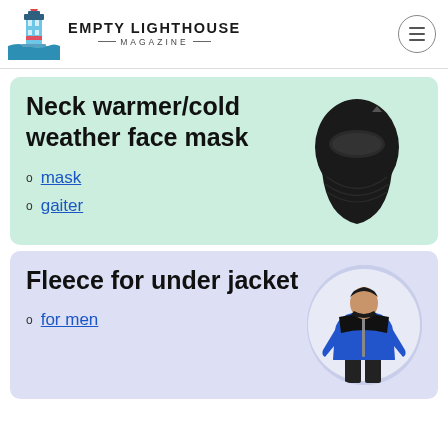Empty Lighthouse Magazine
Neck warmer/cold weather face mask
mask
gaiter
[Figure (photo): Black balaclava/neck warmer face mask product photo]
Fleece for under jacket
for men
[Figure (photo): Man wearing blue and black North Face fleece jacket, shown in circular crop]